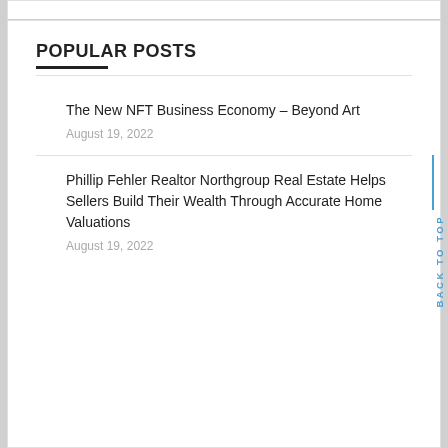POPULAR POSTS
The New NFT Business Economy – Beyond Art
August 19, 2022
Phillip Fehler Realtor Northgroup Real Estate Helps Sellers Build Their Wealth Through Accurate Home Valuations
August 19, 2022